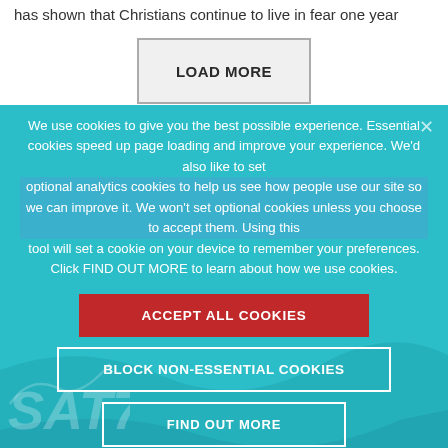has shown that Christians continue to live in fear one year
LOAD MORE
We use cookies to give you the best possible experience. Essential cookies speed up page loading and improve your experience. We'd also like to set optional analytics cookies to help us see how people use our site so we can improve it. We won't set optional cookies unless you choose to accept them. Using this tool will set a cookie on your device to remember your preferences. Click FIND OUT MORE to learn about how we use cookies.
ACCEPT ALL COOKIES
BLOCK NON-ESSENTIAL COOKIES
FIND OUT MORE
[Figure (logo): SAT7 logo in white on teal background, bottom left]